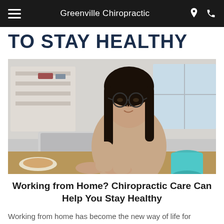Greenville Chiropractic
TO STAY HEALTHY
[Figure (photo): Young woman with glasses working on a laptop at a desk, with a coffee cup and breakfast nearby, home office setting]
Working from Home? Chiropractic Care Can Help You Stay Healthy
Working from home has become the new way of life for